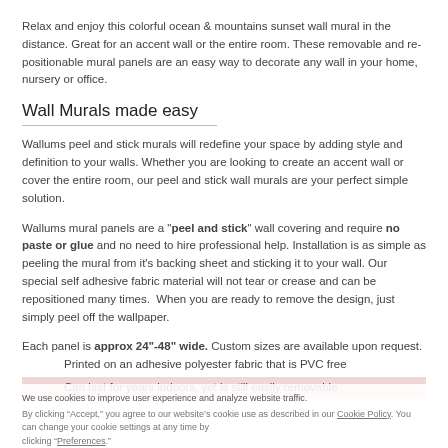Relax and enjoy this colorful ocean & mountains sunset wall mural in the distance. Great for an accent wall or the entire room. These removable and re-positionable mural panels are an easy way to decorate any wall in your home, nursery or office.
Wall Murals made easy
Wallums peel and stick murals will redefine your space by adding style and definition to your walls. Whether you are looking to create an accent wall or cover the entire room, our peel and stick wall murals are your perfect simple solution.
Wallums mural panels are a "peel and stick" wall covering and require no paste or glue and no need to hire professional help. Installation is as simple as peeling the mural from it's backing sheet and sticking it to your wall. Our special self adhesive fabric material will not tear or crease and can be repositioned many times.  When you are ready to remove the design, just simply peel off the wallpaper.
Each panel is approx 24"-48" wide. Custom sizes are available upon request.
Printed on an adhesive polyester fabric that is PVC free
Can last for years indoors, yet is still easily removable
We use cookies to improve user experience and analyze website traffic. By clicking “Accept,” you agree to our website’s cookie use as described in our Cookie Policy. You can change your cookie settings at any time by clicking “Preferences.”